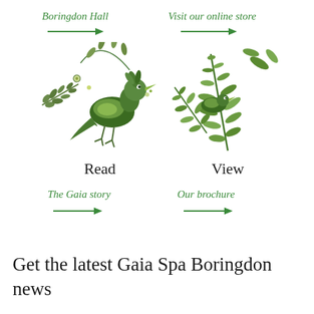Boringdon Hall
Visit our online store
[Figure (illustration): Green decorative bird made of leaves and foliage, folk-art style]
[Figure (illustration): Green decorative foliage/leaf cluster, folk-art style]
Read
View
The Gaia story
Our brochure
Get the latest Gaia Spa Boringdon news